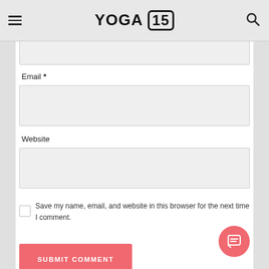YOGA 15
Email *
Website
Save my name, email, and website in this browser for the next time I comment.
SUBMIT COMMENT